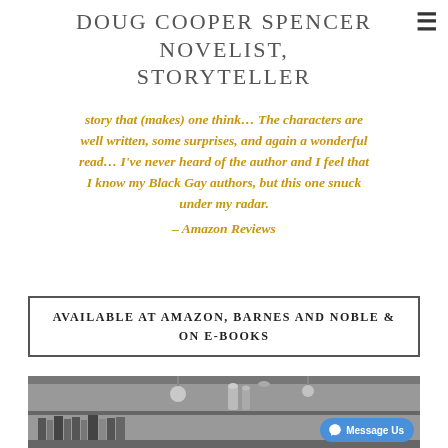DOUG COOPER SPENCER NOVELIST, STORYTELLER
story that (makes) one think… The characters are well written, some surprises, and again a wonderful read… I've never heard of the author and I feel that I know my Black Gay authors, but this one snuck under my radar.
– Amazon Reviews
AVAILABLE AT AMAZON, BARNES AND NOBLE & ON E-BOOKS
[Figure (photo): Black and white photo of a bookshelf or bar interior with shelves of books/bottles]